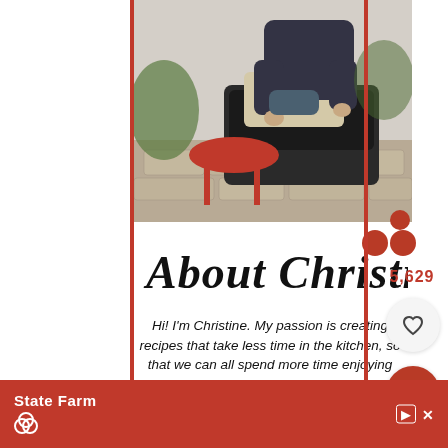[Figure (photo): Photo of a person sitting on outdoor furniture near a small red side table on a patio/garden setting]
About Christine
Hi! I'm Christine. My passion is creating recipes that take less time in the kitchen, so that we can all spend more time enjoying life! I'm a busy single mom of two, so I totally get how tough it can be. That's why I've been figuring things out for my own family, and that's why I want to share this
5,629
[Figure (logo): State Farm advertisement banner with State Farm logo and three overlapping circles icon]